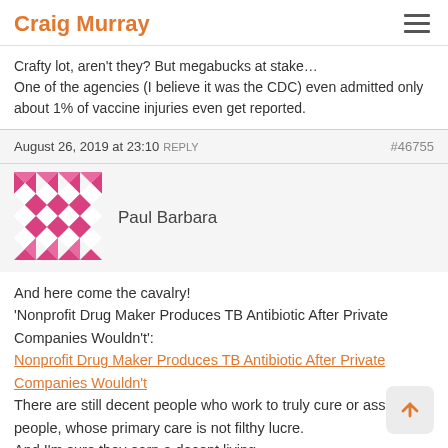Craig Murray
Crafty lot, aren't they? But megabucks at stake…
One of the agencies (I believe it was the CDC) even admitted only about 1% of vaccine injuries even get reported.
August 26, 2019 at 23:10 REPLY  #46755
[Figure (illustration): Pink and white geometric avatar icon for user Paul Barbara]
Paul Barbara
And here come the cavalry!
'Nonprofit Drug Maker Produces TB Antibiotic After Private Companies Wouldn't':
Nonprofit Drug Maker Produces TB Antibiotic After Private Companies Wouldn't
There are still decent people who work to truly cure or assist sick people, whose primary care is not filthy lucre.
And I'm sure they earn a decent living.